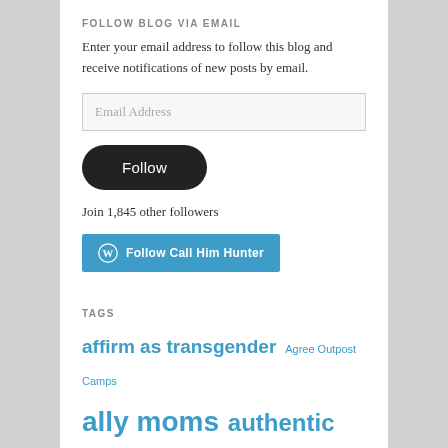FOLLOW BLOG VIA EMAIL
Enter your email address to follow this blog and receive notifications of new posts by email.
Join 1,845 other followers
[Figure (other): Follow Call Him Hunter button (WordPress follow button, blue/teal background with WordPress logo)]
TAGS
affirm as transgender  Agree Outpost Camps  ally moms  authentic life  avatars  baby names  barbie dolls  bisexual  body dysphoria  boy trapped in a girl's body  call him hunter  camp  camper